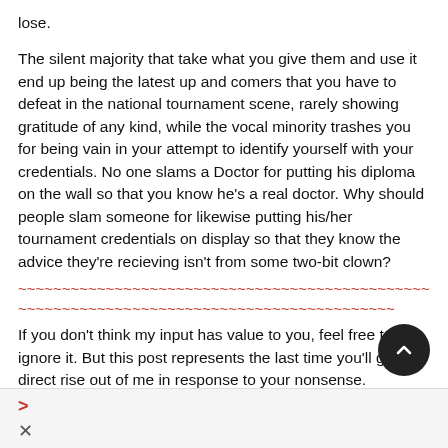lose.
The silent majority that take what you give them and use it end up being the latest up and comers that you have to defeat in the national tournament scene, rarely showing gratitude of any kind, while the vocal minority trashes you for being vain in your attempt to identify yourself with your credentials. No one slams a Doctor for putting his diploma on the wall so that you know he's a real doctor. Why should people slam someone for likewise putting his/her tournament credentials on display so that they know the advice they're recieving isn't from some two-bit clown?
~~~~~~~~~~~~~~~~~~~~~~~~~~~~~~~~~~~~~~~~~~~~~~~~~~~~~~~~~~
If you don't think my input has value to you, feel free to ignore it. But this post represents the last time you'll get a direct rise out of me in response to your nonsense.
/EndRant